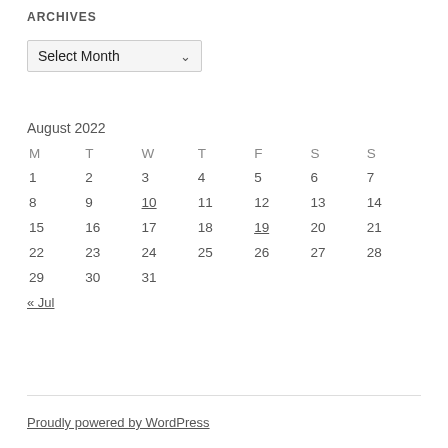ARCHIVES
[Figure (other): Select Month dropdown widget]
| M | T | W | T | F | S | S |
| --- | --- | --- | --- | --- | --- | --- |
| 1 | 2 | 3 | 4 | 5 | 6 | 7 |
| 8 | 9 | 10 | 11 | 12 | 13 | 14 |
| 15 | 16 | 17 | 18 | 19 | 20 | 21 |
| 22 | 23 | 24 | 25 | 26 | 27 | 28 |
| 29 | 30 | 31 |  |  |  |  |
« Jul
Proudly powered by WordPress